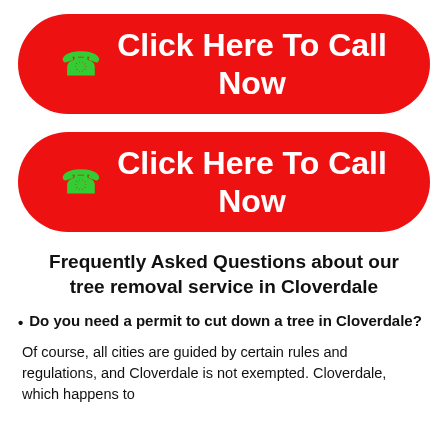[Figure (other): Red rounded button with green phone icon and white text 'Click Here To Call Now']
[Figure (other): Red rounded button with green phone icon and white text 'Click Here To Call Now']
Frequently Asked Questions about our tree removal service in Cloverdale
Do you need a permit to cut down a tree in Cloverdale?
Of course, all cities are guided by certain rules and regulations, and Cloverdale is not exempted. Cloverdale, which happens to